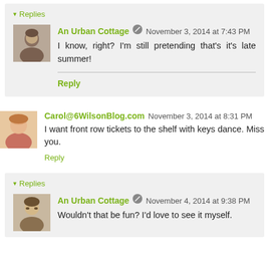▾ Replies
An Urban Cottage ✎ November 3, 2014 at 7:43 PM
I know, right? I'm still pretending that's it's late summer!
Reply
Carol@6WilsonBlog.com November 3, 2014 at 8:31 PM
I want front row tickets to the shelf with keys dance. Miss you.
Reply
▾ Replies
An Urban Cottage ✎ November 4, 2014 at 9:38 PM
Wouldn't that be fun? I'd love to see it myself.